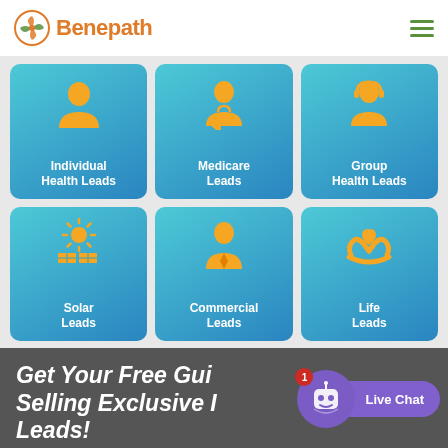[Figure (logo): Benepath logo with orange pinwheel icon and orange text]
[Figure (infographic): 3x2 grid of teal/blue rounded card tiles with orange icons and white labels: Individual Health Leads, Medicare Leads, Group Health Leads, Solar Leads, Commercial Leads, Life Leads]
Get Your Free Guide to Selling Exclusive Insurance Leads!
[Figure (screenshot): Live Chat widget with purple robot bot icon with red badge showing '1', and purple 'Live Chat' button]